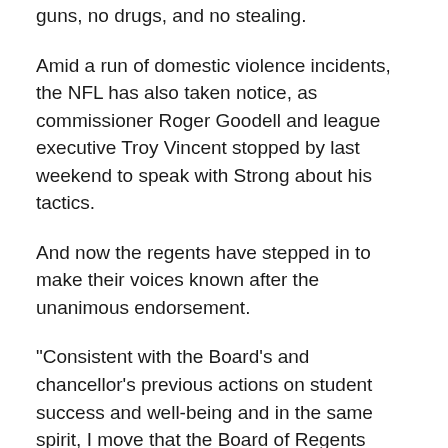guns, no drugs, and no stealing.
Amid a run of domestic violence incidents, the NFL has also taken notice, as commissioner Roger Goodell and league executive Troy Vincent stopped by last weekend to speak with Strong about his tactics.
And now the regents have stepped in to make their voices known after the unanimous endorsement.
"Consistent with the Board's and chancellor's previous actions on student success and well-being and in the same spirit, I move that the Board of Regents express its full support for UT-Austin head football coach Charlie Strong and his unwavering commitment to teaching, cultivating, supporting and demanding outstanding character, strong moral fiber and high core values in the young men he is charged